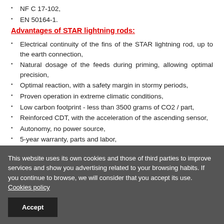NF C 17-102,
EN 50164-1.
Advantages of STAR lightning rods:
Electrical continuity of the fins of the STAR lightning rod, up to the earth connection,
Natural dosage of the feeds during priming, allowing optimal precision,
Optimal reaction, with a safety margin in stormy periods,
Proven operation in extreme climatic conditions,
Low carbon footprint - less than 3500 grams of CO2 / part,
Reinforced CDT, with the acceleration of the ascending sensor,
Autonomy, no power source,
5-year warranty, parts and labor,
Custom reinforced packaging,
Free technical support.
This website uses its own cookies and those of third parties to improve services and show you advertising related to your browsing habits. If you continue to browse, we will consider that you accept its use. Cookies policy
Accept